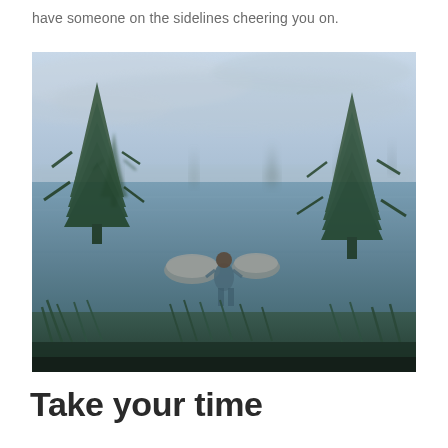have someone on the sidelines cheering you on.
[Figure (photo): A moody, misty landscape photo showing a person standing waist-deep in a still lake or flooded area surrounded by evergreen trees partially submerged in water. The scene is foggy with a pale blue-grey sky, rocks visible near the person, and lush green vegetation in the foreground. The atmosphere is serene and somewhat surreal.]
Take your time